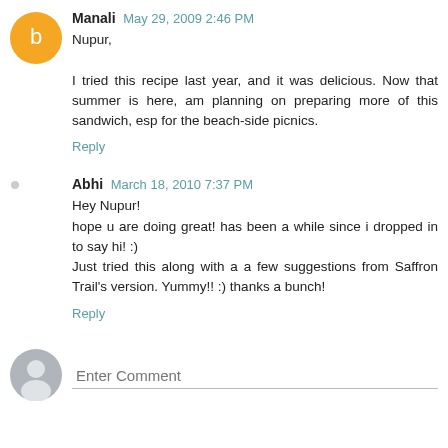Manali  May 29, 2009 2:46 PM
Nupur,

I tried this recipe last year, and it was delicious. Now that summer is here, am planning on preparing more of this sandwich, esp for the beach-side picnics.
Reply
Abhi  March 18, 2010 7:37 PM
Hey Nupur!
hope u are doing great! has been a while since i dropped in to say hi! :)
Just tried this along with a a few suggestions from Saffron Trail's version. Yummy!! :) thanks a bunch!
Reply
Enter Comment